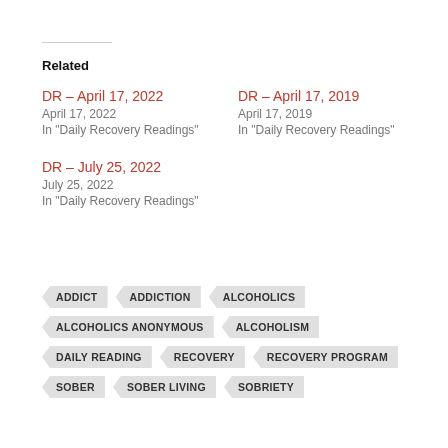Related
DR – April 17, 2022
April 17, 2022
In "Daily Recovery Readings"
DR – April 17, 2019
April 17, 2019
In "Daily Recovery Readings"
DR – July 25, 2022
July 25, 2022
In "Daily Recovery Readings"
ADDICT
ADDICTION
ALCOHOLICS
ALCOHOLICS ANONYMOUS
ALCOHOLISM
DAILY READING
RECOVERY
RECOVERY PROGRAM
SOBER
SOBER LIVING
SOBRIETY